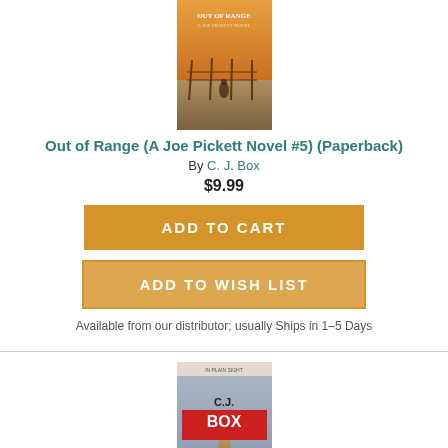[Figure (photo): Book cover for Out of Range (A Joe Pickett Novel #5) - shows a fence and desert landscape at sunset]
Out of Range (A Joe Pickett Novel #5) (Paperback)
By C. J. Box
$9.99
ADD TO CART
ADD TO WISH LIST
Available from our distributor; usually Ships in 1-5 Days
[Figure (photo): Book cover for In Plain Sight (A Joe Pickett Novel #6) - shows C.J. Box name prominently with a road perspective image]
In Plain Sight (A Joe Pickett Novel #6) (Paperback)